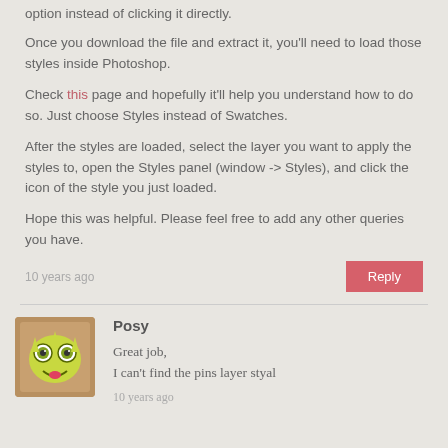option instead of clicking it directly.
Once you download the file and extract it, you'll need to load those styles inside Photoshop.
Check this page and hopefully it'll help you understand how to do so. Just choose Styles instead of Swatches.
After the styles are loaded, select the layer you want to apply the styles to, open the Styles panel (window -> Styles), and click the icon of the style you just loaded.
Hope this was helpful. Please feel free to add any other queries you have.
10 years ago
Reply
Posy
Great job,
I can't find the pins layer styal
10 years ago